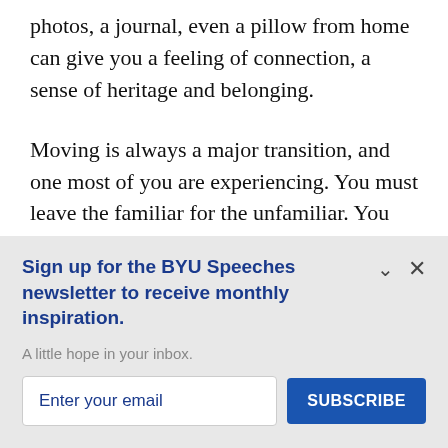photos, a journal, even a pillow from home can give you a feeling of connection, a sense of heritage and belonging.
Moving is always a major transition, and one most of you are experiencing. You must leave the familiar for the unfamiliar. You leave behind also a bit of your identity and have to redefine yourself.
Sign up for the BYU Speeches newsletter to receive monthly inspiration.
A little hope in your inbox.
Enter your email
SUBSCRIBE